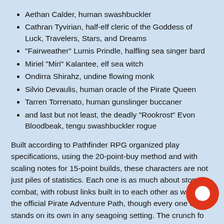Aethan Calder, human swashbuckler
Cathran Tyvirian, half-elf cleric of the Goddess of Luck, Travelers, Stars, and Dreams
"Fairweather" Lumis Prindle, halfling sea singer bard
Miriel "Miri" Kalantee, elf sea witch
Ondirra Shirahz, undine flowing monk
Silvio Devaulis, human oracle of the Pirate Queen
Tarren Torrenato, human gunslinger buccaner
and last but not least, the deadly "Rookrost" Evon Bloodbeak, tengu swashbuckler rogue
Built according to Pathfinder RPG organized play specifications, using the 20-point-buy method and with scaling notes for 15-point builds, these characters are not just piles of statistics. Each one is as much about story as combat, with robust links built in to each other as well as the official Pirate Adventure Path, though every one easily stands on its own in any seagoing setting. The crunch for every character more than measures up to its incredible flavor text, though, and when it's time to throw down in combat none of these Nautical Heroes will be stepping to the sidelines.